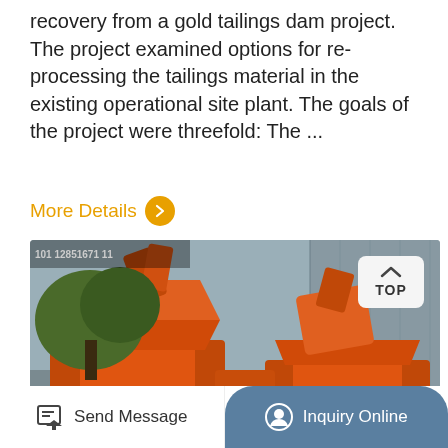recovery from a gold tailings dam project. The project examined options for re-processing the tailings material in the existing operational site plant. The goals of the project were threefold: The ...
More Details
[Figure (photo): Orange industrial mining/crushing machinery (hammer mill or jaw crusher) with large circular flywheel discs, photographed outdoors near a building. Equipment is painted orange.]
Send Message
Inquiry Online